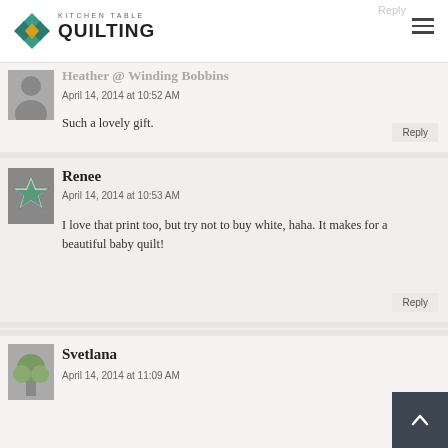Kitchen Table Quilting
Heather @ Winding Bobbins
April 14, 2014 at 10:52 AM
Such a lovely gift.
Reply
Renee
April 14, 2014 at 10:53 AM
I love that print too, but try not to buy white, haha. It makes for a beautiful baby quilt!
Reply
Svetlana
April 14, 2014 at 11:09 AM